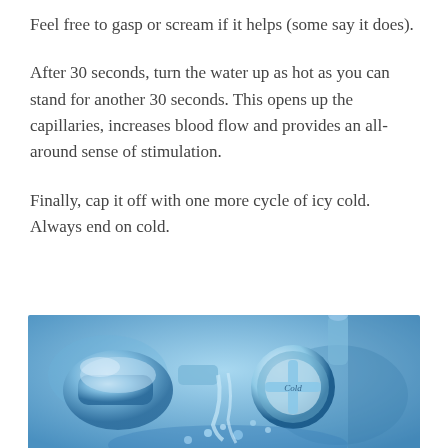Feel free to gasp or scream if it helps (some say it does).
After 30 seconds, turn the water up as hot as you can stand for another 30 seconds. This opens up the capillaries, increases blood flow and provides an all-around sense of stimulation.
Finally, cap it off with one more cycle of icy cold. Always end on cold.
[Figure (photo): Close-up photo of a cold water faucet tap with running water splashing, tinted in blue tones. The faucet handle has 'Cold' written on it.]